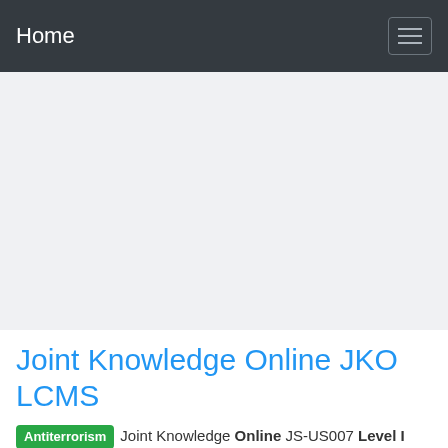Home
[Figure (other): Large grey hero image placeholder area]
Joint Knowledge Online JKO LCMS
Antiterrorism Joint Knowledge Online JS-US007 Level I Antiterrorism Awareness Training (2 hrs) This web-based training is sponsored by the Joint Staff in coordination with